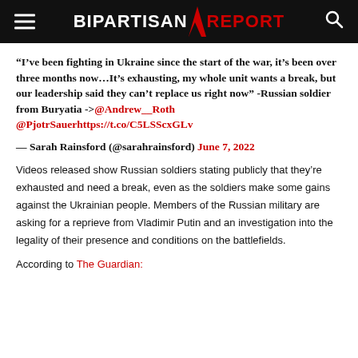BIPARTISAN REPORT
“I’ve been fighting in Ukraine since the start of the war, it’s been over three months now…It’s exhausting, my whole unit wants a break, but our leadership said they can’t replace us right now” -Russian soldier from Buryatia ->@Andrew__Roth @PjotrSauerhttps://t.co/C5LSScxGLv
— Sarah Rainsford (@sarahrainsford) June 7, 2022
Videos released show Russian soldiers stating publicly that they’re exhausted and need a break, even as the soldiers make some gains against the Ukrainian people. Members of the Russian military are asking for a reprieve from Vladimir Putin and an investigation into the legality of their presence and conditions on the battlefields.
According to The Guardian: